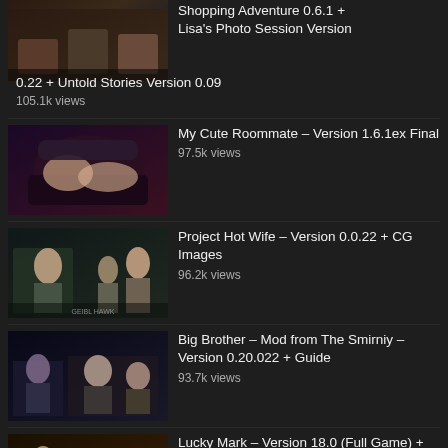Shopping Adventure 0.6.1 + Lisa's Photo Session Version 0.22 + Untold Stories Version 0.09
105.1k views
My Cute Roommate – Version 1.6.1ex Final
97.5k views
Project Hot Wife – Version 0.0.22 + CG Images
96.2k views
Big Brother – Mod from The Smirniy – Version 0.20.022 + Guide
93.7k views
Lucky Mark – Version 18.0 (Full Game) + Walkthrough + Cheat Mod